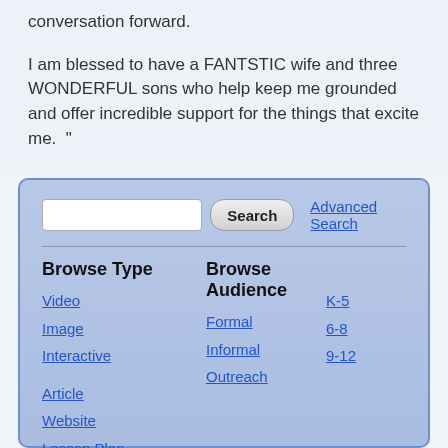conversation forward.
I am blessed to have a FANTSTIC wife and three WONDERFUL sons who help keep me grounded and offer incredible support for the things that excite me.  "
[Figure (screenshot): Search widget with Browse Type and Browse Audience sections. Contains a search input, Search button, Advanced Search link, and links: Video, Image, Interactive, Article, Website, Lesson Plan under Browse Type; Formal, Informal, Outreach and K-5, 6-8, 9-12 under Browse Audience.]